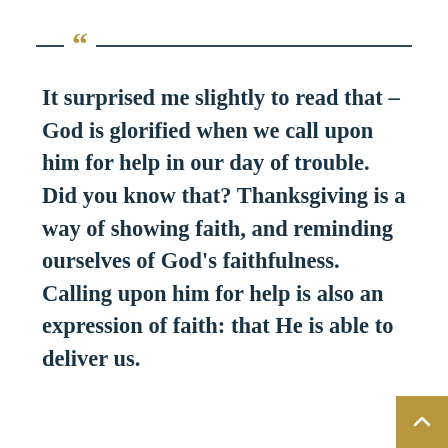It surprised me slightly to read that – God is glorified when we call upon him for help in our day of trouble. Did you know that? Thanksgiving is a way of showing faith, and reminding ourselves of God's faithfulness. Calling upon him for help is also an expression of faith: that He is able to deliver us.